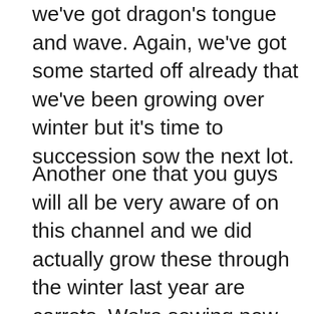we've got dragon's tongue and wave. Again, we've got some started off already that we've been growing over winter but it's time to succession sow the next lot.
Another one that you guys will all be very aware of on this channel and we did actually grow these through the winter last year are carrots. We're sowing now to get them off to an early start before transplanting them out to the garden later in the spring or even to grow on in your greenhouse or polytunnel. I have two favourite varieties I grow, flyaway and purple haze. We're doing the same thing with beetroot, an early start on our bolthardy with the intention of getting these transplanted out to the raised beds once they are small plants. But the added bonus is that beetroot make a great